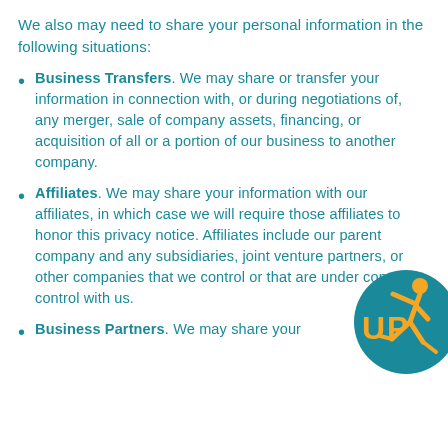We also may need to share your personal information in the following situations:
Business Transfers. We may share or transfer your information in connection with, or during negotiations of, any merger, sale of company assets, financing, or acquisition of all or a portion of our business to another company.
Affiliates. We may share your information with our affiliates, in which case we will require those affiliates to honor this privacy notice. Affiliates include our parent company and any subsidiaries, joint venture partners, or other companies that we control or that are under common control with us.
Business Partners. We may share your
[Figure (logo): Circular teal logo with orange running figure and 'UP' text in orange]